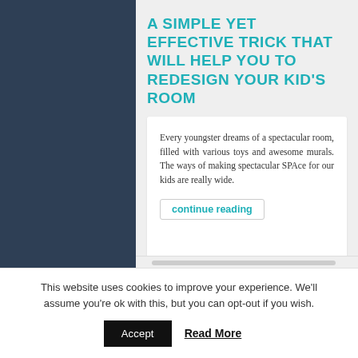A SIMPLE YET EFFECTIVE TRICK THAT WILL HELP YOU TO REDESIGN YOUR KID'S ROOM
Every youngster dreams of a spectacular room, filled with various toys and awesome murals. The ways of making spectacular SPAce for our kids are really wide.
continue reading
This website uses cookies to improve your experience. We'll assume you're ok with this, but you can opt-out if you wish.
Accept
Read More